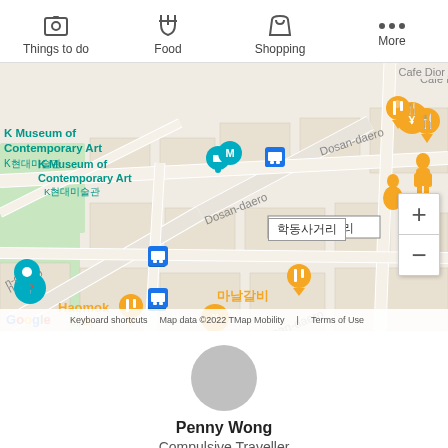Things to do | Food | Shopping | More
[Figure (map): Google Maps screenshot showing area around Hakdong intersection (학동사거리) in Seoul, Korea. Shows K Museum of Contemporary Art (K현대미술관), Dosan-daero road, MORE MANY MORE Hamburger restaurant, 마날갈비 restaurant, JENNY HOUSE, and Haemok area. Map data ©2022 TMap Mobility. Keyboard shortcuts | Terms of Use.]
[Figure (photo): Gray circular avatar placeholder for author Penny Wong]
Penny Wong
Compulsive Traveller
This article includes opinions of the Go Guides editorial team. Hotels.com compensates authors for their writings appearing on this site; such compensation may include travel and other costs.